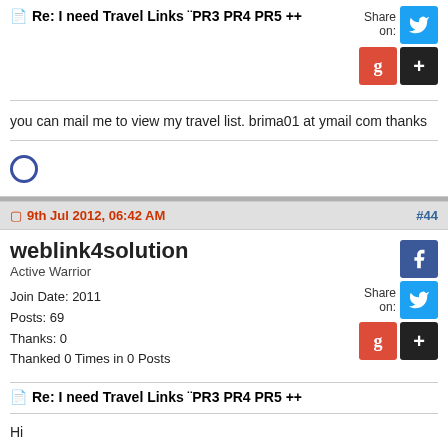Re: I need Travel Links ¨PR3 PR4 PR5 ++
you can mail me to view my travel list. brima01 at ymail com thanks
9th Jul 2012, 06:42 AM
#44
weblink4solution
Active Warrior
Join Date: 2011
Posts: 69
Thanks: 0
Thanked 0 Times in 0 Posts
Re: I need Travel Links ¨PR3 PR4 PR5 ++
Hi